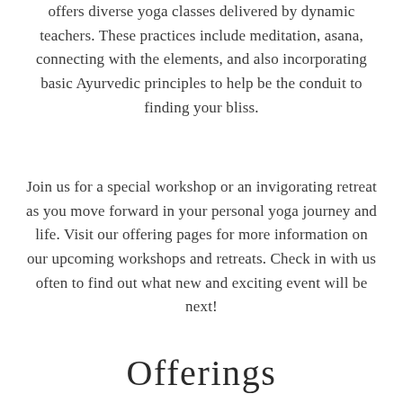offers diverse yoga classes delivered by dynamic teachers. These practices include meditation, asana, connecting with the elements, and also incorporating basic Ayurvedic principles to help be the conduit to finding your bliss.
Join us for a special workshop or an invigorating retreat as you move forward in your personal yoga journey and life. Visit our offering pages for more information on our upcoming workshops and retreats. Check in with us often to find out what new and exciting event will be next!
Offerings